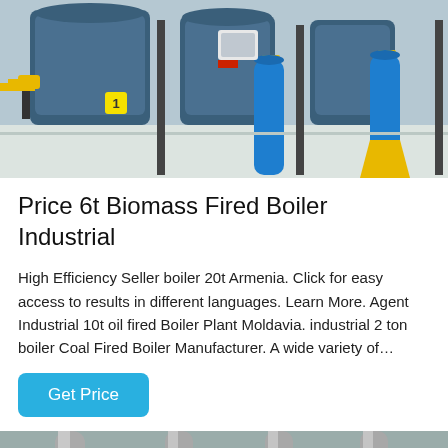[Figure (photo): Industrial boiler room with blue cylindrical boilers, yellow pipe fittings, and black support structures on a white floor]
Price 6t Biomass Fired Boiler Industrial
High Efficiency Seller boiler 20t Armenia. Click for easy access to results in different languages. Learn More. Agent Industrial 10t oil fired Boiler Plant Moldavia. industrial 2 ton boiler Coal Fired Boiler Manufacturer. A wide variety of…
Get Price
[Figure (photo): Close-up of industrial stainless steel pipes and boiler equipment in a facility]